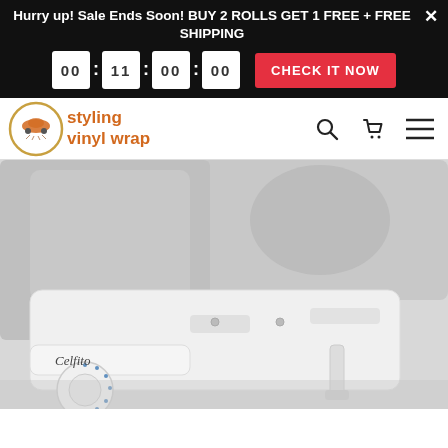Hurry up! Sale Ends Soon! BUY 2 ROLLS GET 1 FREE + FREE SHIPPING
[Figure (screenshot): Countdown timer with four digit blocks separated by colons, and a red CHECK IT NOW button]
[Figure (logo): Styling Vinyl Wrap logo: circular emblem with car and ant, orange text 'styling vinyl wrap']
[Figure (photo): Close-up photo of a white Celfito bidet attachment mounted on a toilet seat, showing the nozzle, control knob with blue dots, and hose connector]